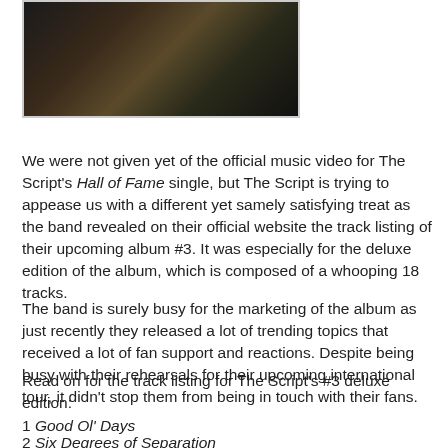[Figure (photo): Photo of performers on stage, dark background with warm-toned lighting]
We were not given yet of the official music video for The Script's Hall of Fame single, but The Script is trying to appease us with a different yet samely satisfying treat as the band revealed on their official website the track listing of their upcoming album #3. It was especially for the deluxe edition of the album, which is composed of a whooping 18 tracks.
The band is surely busy for the marketing of the album as just recently they released a lot of trending topics that received a lot of fan support and reactions. Despite being busy with their rehearsals for their upcoming international tour, it didn't stop them from being in touch with their fans.
Read on for the track listing for The Script's #3 deluxe edition:
1 Good Ol' Days
2 Six Degrees of Separation